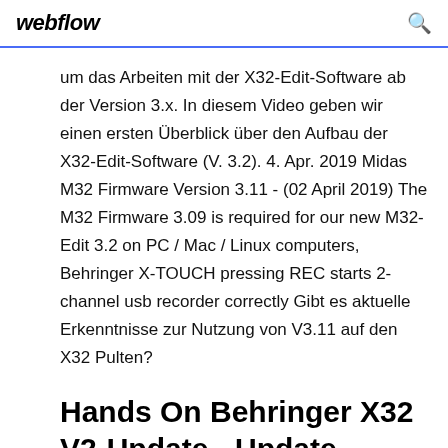webflow
um das Arbeiten mit der X32-Edit-Software ab der Version 3.x. In diesem Video geben wir einen ersten Überblick über den Aufbau der X32-Edit-Software (V. 3.2). 4. Apr. 2019 Midas M32 Firmware Version 3.11 - (02 April 2019) The M32 Firmware 3.09 is required for our new M32-Edit 3.2 on PC / Mac / Linux computers, Behringer X-TOUCH pressing REC starts 2-channel usb recorder correctly Gibt es aktuelle Erkenntnisse zur Nutzung von V3.11 auf den X32 Pulten?
Hands On Behringer X32 V2-Update - Update-Tutorial zu